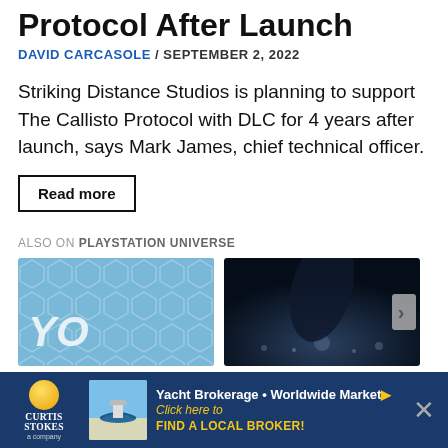Protocol After Launch
DAVID CARCASOLE / SEPTEMBER 2, 2022
Striking Distance Studios is planning to support The Callisto Protocol with DLC for 4 years after launch, says Mark James, chief technical officer.
Read more
ALSO ON PLAYSTATION UNIVERSE
[Figure (photo): Blue hexagonal pattern background with stylized YO text, gaming related thumbnail]
[Figure (photo): Dark cinematic gaming screenshot with figure silhouette against night sky]
[Figure (advertisement): Curtis Stokes Yacht Brokerage ad - Worldwide Market, Click here to Find a Local Broker]